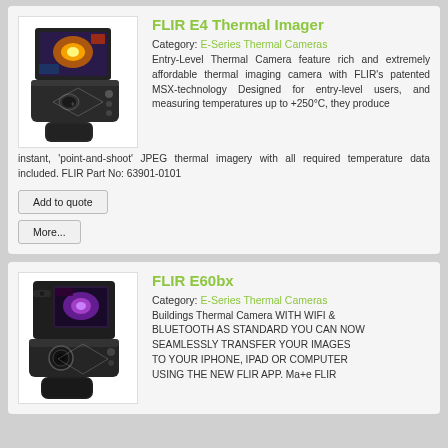FLIR E4 Thermal Imager
Category: E-Series Thermal Cameras
Entry-Level Thermal Camera feature rich and extremely affordable thermal imaging camera with FLIR's patented MSX-technology Designed for entry-level users, and measuring temperatures up to +250°C, they produce instant, 'point-and-shoot' JPEG thermal imagery with all required temperature data included. FLIR Part No: 63901-0101
Add to quote
More...
FLIR E60bx
Category: E-Series Thermal Cameras
Buildings Thermal Camera WITH WIFI & BLUETOOTH AS STANDARD YOU CAN NOW SEAMLESSLY TRANSFER YOUR IMAGES TO YOUR IPHONE, IPAD OR COMPUTER USING THE NEW FLIR APP. Ma+e FLIR